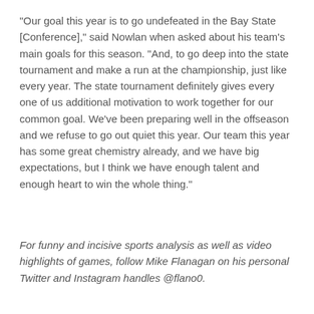"Our goal this year is to go undefeated in the Bay State [Conference]," said Nowlan when asked about his team's main goals for this season. "And, to go deep into the state tournament and make a run at the championship, just like every year. The state tournament definitely gives every one of us additional motivation to work together for our common goal. We've been preparing well in the offseason and we refuse to go out quiet this year. Our team this year has some great chemistry already, and we have big expectations, but I think we have enough talent and enough heart to win the whole thing."
For funny and incisive sports analysis as well as video highlights of games, follow Mike Flanagan on his personal Twitter and Instagram handles @flano0.
Needham | April 27, 2021 | Michael Flanagan | No tags